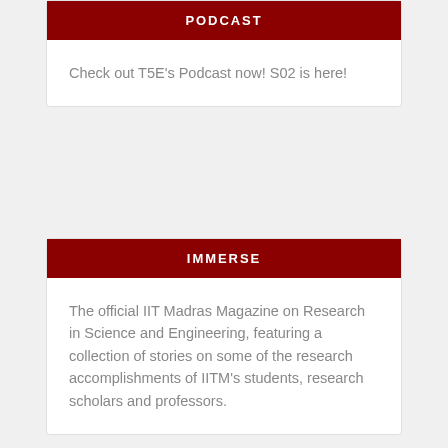PODCAST
Check out T5E's Podcast now! S02 is here!
IMMERSE
The official IIT Madras Magazine on Research in Science and Engineering, featuring a collection of stories on some of the research accomplishments of IITM's students, research scholars and professors.
RECENT POSTS